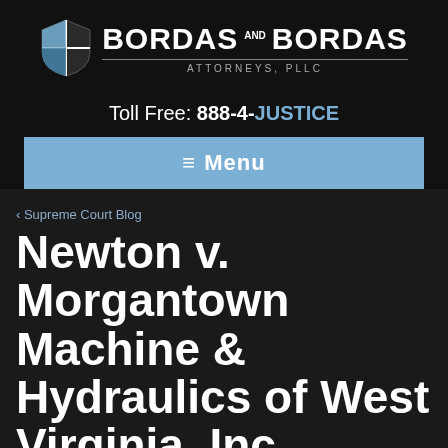[Figure (logo): Bordas and Bordas Attorneys PLLC logo with shield icon and firm name]
Toll Free: 888-4-JUSTICE
≡ Menu
‹ Supreme Court Blog
Newton v. Morgantown Machine & Hydraulics of West Virginia, Inc.